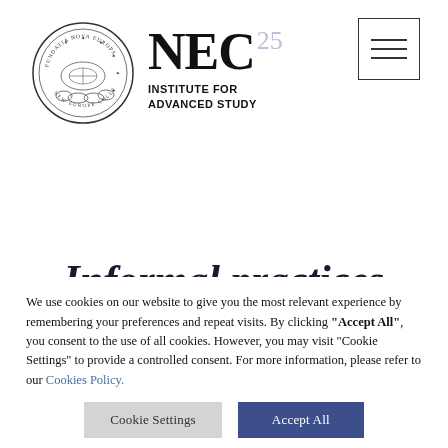[Figure (logo): NEC Institute for Advanced Study circular seal logo with circular text and illustration, plus NEC25 wordmark and INSTITUTE FOR ADVANCED STUDY text]
Informal practices
We use cookies on our website to give you the most relevant experience by remembering your preferences and repeat visits. By clicking “Accept All”, you consent to the use of all cookies. However, you may visit "Cookie Settings" to provide a controlled consent. For more information, please refer to our Cookies Policy.
Cookie Settings | Accept All